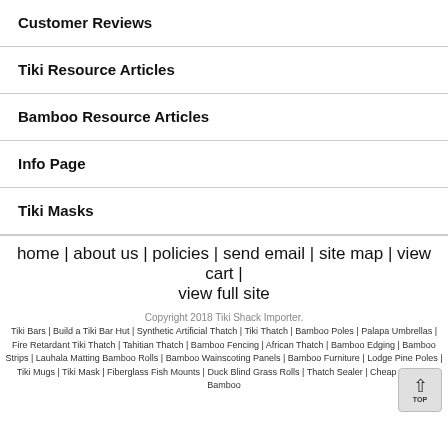Customer Reviews
Tiki Resource Articles
Bamboo Resource Articles
Info Page
Tiki Masks
home | about us | policies | send email | site map | view cart | view full site
Copyright 2018 Tiki Shack Importer.
Tiki Bars | Build a Tiki Bar Hut | Synthetic Artificial Thatch | Tiki Thatch | Bamboo Poles | Palapa Umbrellas | Fire Retardant Tiki Thatch | Tahitian Thatch | Bamboo Fencing | African Thatch | Bamboo Edging | Bamboo Strips | Lauhala Matting Bamboo Rolls | Bamboo Wainscoting Panels | Bamboo Furniture | Lodge Pine Poles | Tiki Mugs | Tiki Mask | Fiberglass Fish Mounts | Duck Blind Grass Rolls | Thatch Sealer | Cheap Thatch | Bamboo